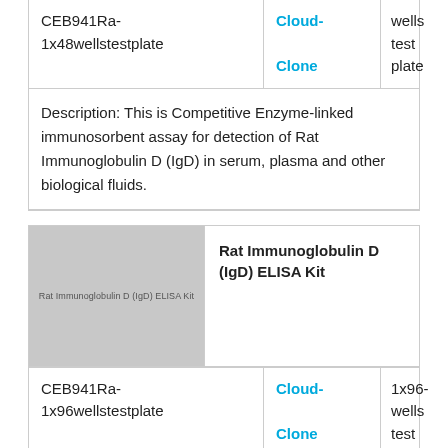|  |  |  |  |
| --- | --- | --- | --- |
| CEB941Ra-1x48wellstestplate | Cloud-Clone | wells test plate | EUR 489.16 |
Description: This is Competitive Enzyme-linked immunosorbent assay for detection of Rat Immunoglobulin D (IgD) in serum, plasma and other biological fluids.
[Figure (photo): Product image placeholder for Rat Immunoglobulin D (IgD) ELISA Kit, gray placeholder box with text label]
Rat Immunoglobulin D (IgD) ELISA Kit
|  |  |  |  |
| --- | --- | --- | --- |
| CEB941Ra-1x96wellstestplate | Cloud-Clone | 1x96-wells test plate | EUR 655.84 |